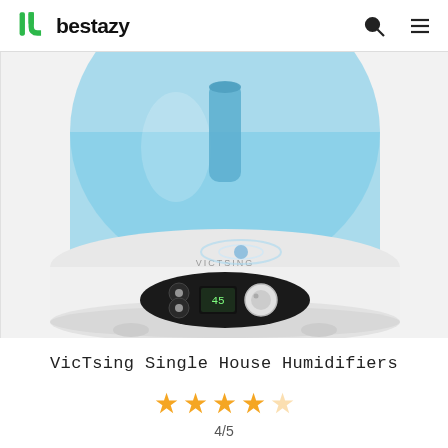bestazy
[Figure (photo): Close-up photo of a VicTsing Single House Humidifier with a blue translucent water tank on top and a white base with a black oval control panel featuring buttons and a dial/knob.]
VicTsing Single House Humidifiers
4/5